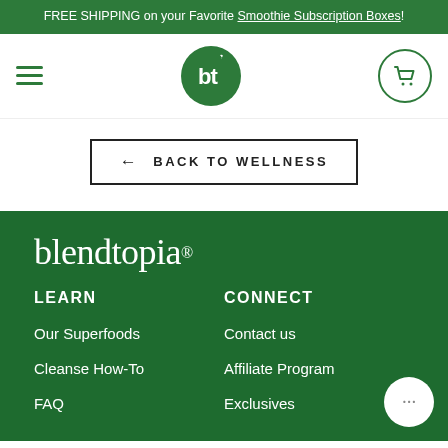FREE SHIPPING on your Favorite Smoothie Subscription Boxes!
[Figure (logo): Blendtopia bt logo in green circle with leaf, hamburger menu icon, and cart icon in nav bar]
← BACK TO WELLNESS
[Figure (logo): blendtopia wordmark in white on green footer background]
LEARN
CONNECT
Our Superfoods
Contact us
Cleanse How-To
Affiliate Program
FAQ
Exclusives